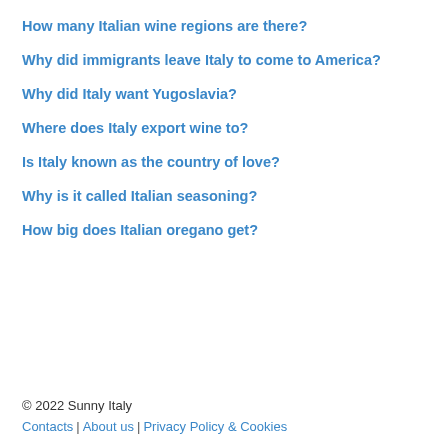How many Italian wine regions are there?
Why did immigrants leave Italy to come to America?
Why did Italy want Yugoslavia?
Where does Italy export wine to?
Is Italy known as the country of love?
Why is it called Italian seasoning?
How big does Italian oregano get?
© 2022 Sunny Italy
Contacts | About us | Privacy Policy & Cookies